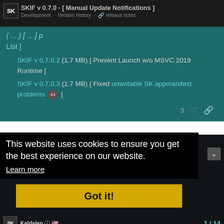SKIF v 0.7.0 - [ Manual Update Notifications ] Development · Version history · release notes
List ]
SKIF v 0.7.0.2 (1.7 MB) [ Prevent Launch w/o MSVC 2019 Runtime ]
SKIF v 0.7.0.3 (1.7 MB) [ Fixed unwritable SK appmanifest problems 44 ]
3 ♡ 🔗
Topic-Free Mega Thread - v 1.11.2020
This website uses cookies to ensure you get the best experience on our website. Learn more
Got it!
Aug '20 · Aug '20 replies
Kaldalen 🇺🇸
1 / 14